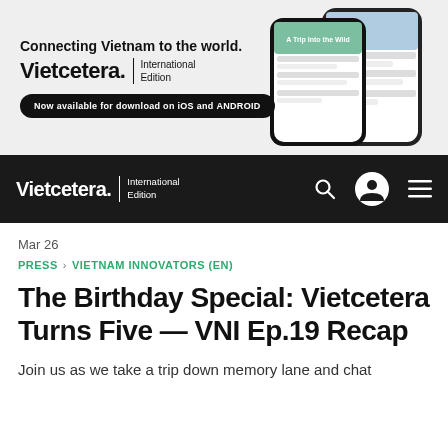[Figure (screenshot): Vietcetera International Edition app banner advertisement showing two smartphones and text 'Connecting Vietnam to the world. Vietcetera. International Edition. Now available for download on iOS and ANDROID']
Vietcetera. International Edition
Mar 26
PRESS > VIETNAM INNOVATORS (EN)
The Birthday Special: Vietcetera Turns Five — VNI Ep.19 Recap
Join us as we take a trip down memory lane and chat